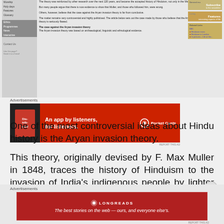[Figure (screenshot): Screenshot of a BBC/religious website showing navigation links (Worship, Holy days, Features, Glossary, Ethics, Programmes, News, Interactive, Contact Us), main article text about Aryan invasion theory, and right sidebar with Subscribe, Features, and Related Links boxes.]
Advertisements
[Figure (photo): Pocket Casts advertisement banner - red background with white text 'An app by listeners, for listeners.' with Pocket Casts logo and phone graphic showing 'Dis-trib-uted' podcast app.]
REPORT THIS AD
One of the most controversial ideas about Hindu history is the Aryan invasion theory.
This theory, originally devised by F. Max Muller in 1848, traces the history of Hinduism to the invasion of India's indigenous people by lighter skinned Aryans around 1500 BCE.
Advertisements
[Figure (photo): Longreads advertisement - dark red background with Longreads logo and text 'The best stories on the web — ours, and everyone else's.']